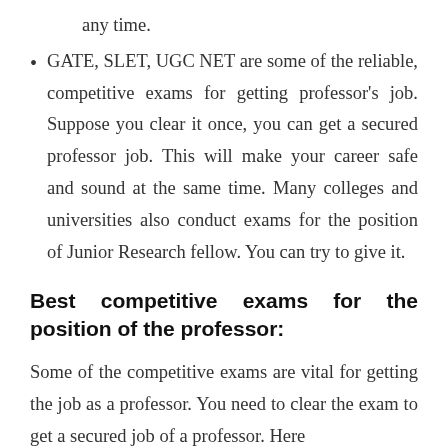any time.
GATE, SLET, UGC NET are some of the reliable, competitive exams for getting professor's job. Suppose you clear it once, you can get a secured professor job. This will make your career safe and sound at the same time. Many colleges and universities also conduct exams for the position of Junior Research fellow. You can try to give it.
Best competitive exams for the position of the professor:
Some of the competitive exams are vital for getting the job as a professor. You need to clear the exam to get a secured job of a professor. Here